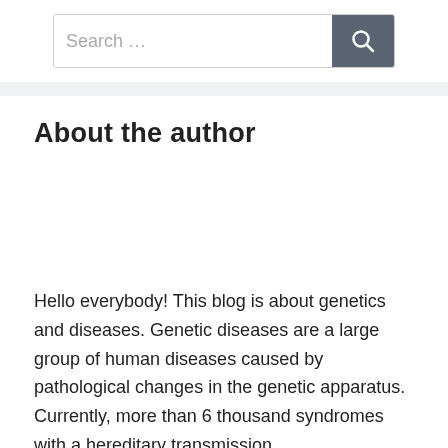[Figure (screenshot): Search bar with text 'Search …' and a dark grey search button with magnifying glass icon]
About the author
Hello everybody! This blog is about genetics and diseases. Genetic diseases are a large group of human diseases caused by pathological changes in the genetic apparatus. Currently, more than 6 thousand syndromes with a hereditary transmission